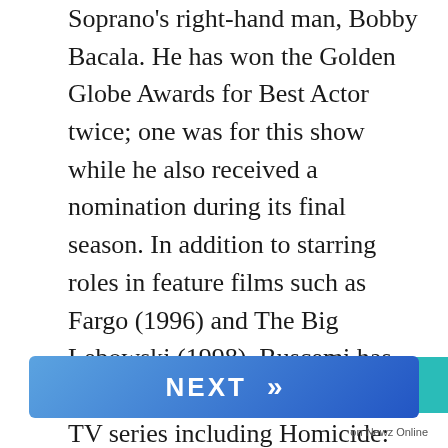...and he is probably playing Tony Soprano's right-hand man, Bobby Bacala. He has won the Golden Globe Awards for Best Actor twice; one was for this show while he also received a nomination during its final season. In addition to starring roles in feature films such as Fargo (1996) and The Big Lebowski (1998), Buscemi has directed episodes of some great TV series including Homicide: Life on the Street, Oz, 30 Rock, Nurse Jackie which starred Edie Falco from The Sopranos cast!
Buscemi is an iconic actor whose versatility...